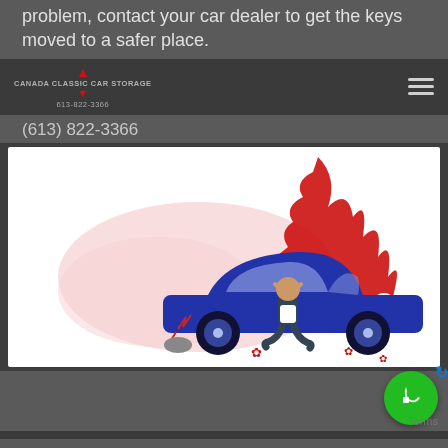problem, contact your car dealer to get the keys moved to a safer place.
CANADA CLASSIC CAR STORAGE 613-822-3366
(613) 822-3366
[Figure (illustration): Illustration of a distressed person kneeling beside a blue car (Tesla-style), with red abstract flames or smoke behind the car, red maple leaf symbols scattered on the ground, and a light pink blob background shape.]
[Figure (other): Green circular call button with phone handset icon and a blue refresh/rotate arrow, with 'Terms' text label]